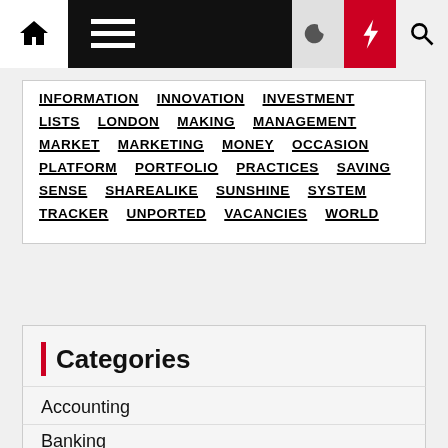Navigation bar with home, menu, moon, flash, and search icons
INFORMATION INNOVATION INVESTMENT LISTS LONDON MAKING MANAGEMENT MARKET MARKETING MONEY OCCASION PLATFORM PORTFOLIO PRACTICES SAVING SENSE SHAREALIKE SUNSHINE SYSTEM TRACKER UNPORTED VACANCIES WORLD
Categories
Accounting
Banking